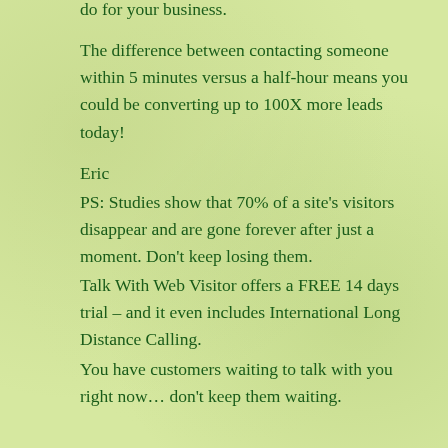do for your business.
The difference between contacting someone within 5 minutes versus a half-hour means you could be converting up to 100X more leads today!
Eric
PS: Studies show that 70% of a site’s visitors disappear and are gone forever after just a moment. Don’t keep losing them.
Talk With Web Visitor offers a FREE 14 days trial – and it even includes International Long Distance Calling.
You have customers waiting to talk with you right now… don’t keep them waiting.